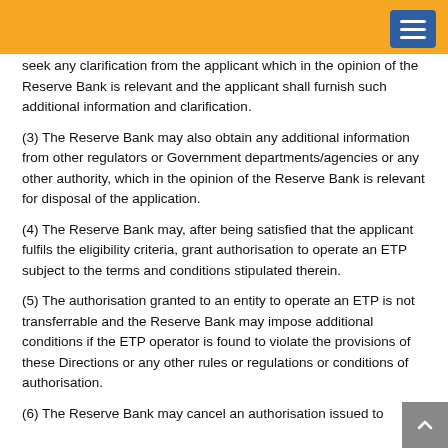seek any clarification from the applicant which in the opinion of the Reserve Bank is relevant and the applicant shall furnish such additional information and clarification.
(3) The Reserve Bank may also obtain any additional information from other regulators or Government departments/agencies or any other authority, which in the opinion of the Reserve Bank is relevant for disposal of the application.
(4) The Reserve Bank may, after being satisfied that the applicant fulfils the eligibility criteria, grant authorisation to operate an ETP subject to the terms and conditions stipulated therein.
(5) The authorisation granted to an entity to operate an ETP is not transferrable and the Reserve Bank may impose additional conditions if the ETP operator is found to violate the provisions of these Directions or any other rules or regulations or conditions of authorisation.
(6) The Reserve Bank may cancel an authorisation issued to